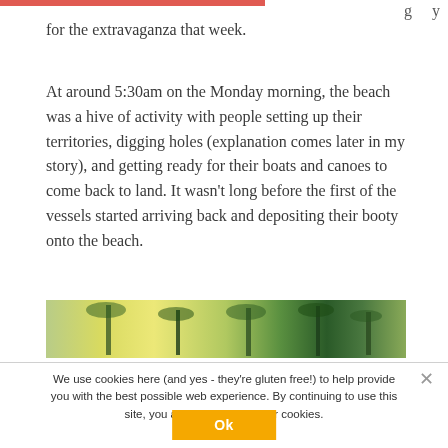for the extravaganza that week.
At around 5:30am on the Monday morning, the beach was a hive of activity with people setting up their territories, digging holes (explanation comes later in my story), and getting ready for their boats and canoes to come back to land. It wasn’t long before the first of the vessels started arriving back and depositing their booty onto the beach.
[Figure (photo): A partial strip of a beach scene showing palm trees and sandy/tropical vegetation in green and yellow tones]
We use cookies here (and yes - they’re gluten free!) to help provide you with the best possible web experience. By continuing to use this site, you accept the use of our cookies.
Ok